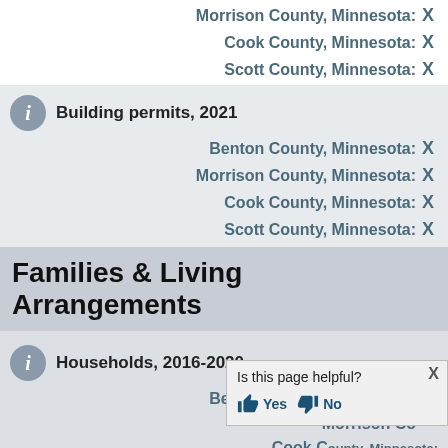Morrison County, Minnesota: X
Cook County, Minnesota: X
Scott County, Minnesota: X
Building permits, 2021
Benton County, Minnesota: X
Morrison County, Minnesota: X
Cook County, Minnesota: X
Scott County, Minnesota: X
Families & Living Arrangements
Households, 2016-2020
Benton County, Minnesota: X
Morrison County, Minnesota: X
Cook County, Minnesota: X